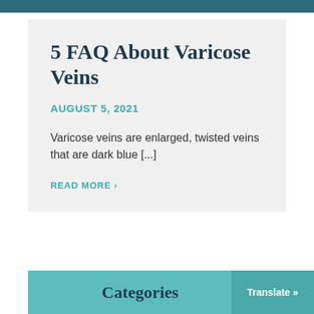5 FAQ About Varicose Veins
AUGUST 5, 2021
Varicose veins are enlarged, twisted veins that are dark blue [...]
READ MORE ›
Categories
Translate »